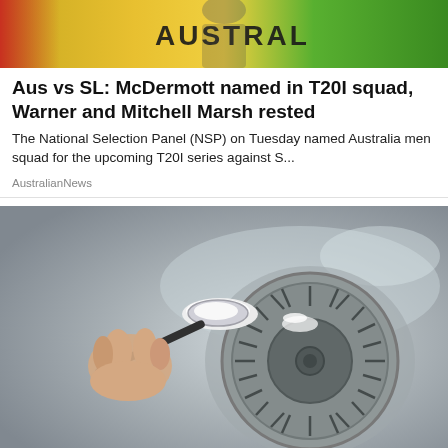[Figure (photo): Australian cricket team jerseys, yellow and green, with text AUSTRAL visible]
Aus vs SL: McDermott named in T20I squad, Warner and Mitchell Marsh rested
The National Selection Panel (NSP) on Tuesday named Australia men squad for the upcoming T20I series against S...
AustralianNews
[Figure (photo): A hand holding a spoon with white powder (baking soda) over a kitchen sink drain strainer]
Tricks to Clean Your Drain Might Be Simpler...